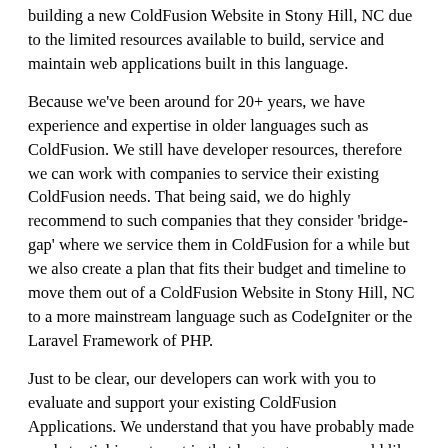building a new ColdFusion Website in Stony Hill, NC due to the limited resources available to build, service and maintain web applications built in this language.
Because we've been around for 20+ years, we have experience and expertise in older languages such as ColdFusion. We still have developer resources, therefore we can work with companies to service their existing ColdFusion needs. That being said, we do highly recommend to such companies that they consider 'bridge-gap' where we service them in ColdFusion for a while but we also create a plan that fits their budget and timeline to move them out of a ColdFusion Website in Stony Hill, NC to a more mainstream language such as CodeIgniter or the Laravel Framework of PHP.
Just to be clear, our developers can work with you to evaluate and support your existing ColdFusion Applications. We understand that you have probably made a substantial investment in that language so we would like you to get max value for your investment before you transition into something more mainstream. Our team understands ColdFusion, remember we actually still think it's a wonderful language but at the end of the day, it's a dying one. Nevertheless, it remains a language that we can support and we do have a CF team in house, which is more than what 99% of companies in the United States can say today. We understand the stress companies are facing due to the lack of developers and having resources for ColdFusion. Admittedly,